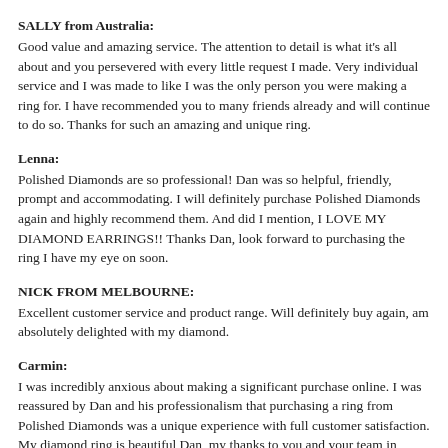SALLY from Australia:
Good value and amazing service. The attention to detail is what it's all about and you persevered with every little request I made. Very individual service and I was made to like I was the only person you were making a ring for. I have recommended you to many friends already and will continue to do so. Thanks for such an amazing and unique ring.
Lenna:
Polished Diamonds are so professional! Dan was so helpful, friendly, prompt and accommodating. I will definitely purchase Polished Diamonds again and highly recommend them. And did I mention, I LOVE MY DIAMOND EARRINGS!! Thanks Dan, look forward to purchasing the ring I have my eye on soon.
NICK FROM MELBOURNE:
Excellent customer service and product range. Will definitely buy again, am absolutely delighted with my diamond.
Carmin:
I was incredibly anxious about making a significant purchase online. I was reassured by Dan and his professionalism that purchasing a ring from Polished Diamonds was a unique experience with full customer satisfaction. My diamond ring is beautiful Dan, my thanks to you and your team in getting my ring to me on time. This truly has been a great experience